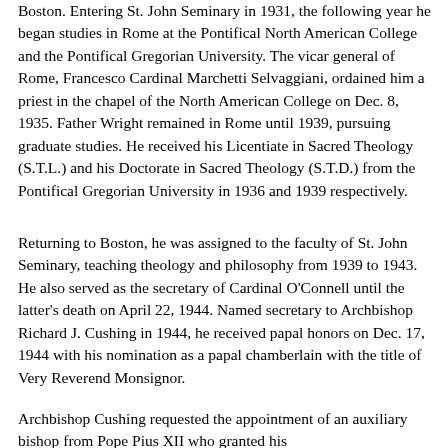Boston. Entering St. John Seminary in 1931, the following year he began studies in Rome at the Pontifical North American College and the Pontifical Gregorian University. The vicar general of Rome, Francesco Cardinal Marchetti Selvaggiani, ordained him a priest in the chapel of the North American College on Dec. 8, 1935. Father Wright remained in Rome until 1939, pursuing graduate studies. He received his Licentiate in Sacred Theology (S.T.L.) and his Doctorate in Sacred Theology (S.T.D.) from the Pontifical Gregorian University in 1936 and 1939 respectively.
Returning to Boston, he was assigned to the faculty of St. John Seminary, teaching theology and philosophy from 1939 to 1943. He also served as the secretary of Cardinal O'Connell until the latter's death on April 22, 1944. Named secretary to Archbishop Richard J. Cushing in 1944, he received papal honors on Dec. 17, 1944 with his nomination as a papal chamberlain with the title of Very Reverend Monsignor.
Archbishop Cushing requested the appointment of an auxiliary bishop from Pope Pius XII who granted his